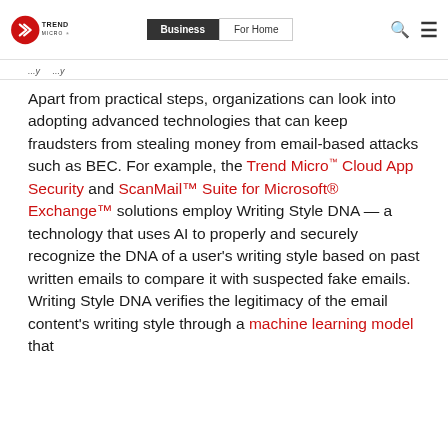Trend Micro | Business | For Home
...y ...y
Apart from practical steps, organizations can look into adopting advanced technologies that can keep fraudsters from stealing money from email-based attacks such as BEC. For example, the Trend Micro™ Cloud App Security and ScanMail™ Suite for Microsoft® Exchange™ solutions employ Writing Style DNA — a technology that uses AI to properly and securely recognize the DNA of a user's writing style based on past written emails to compare it with suspected fake emails. Writing Style DNA verifies the legitimacy of the email content's writing style through a machine learning model that